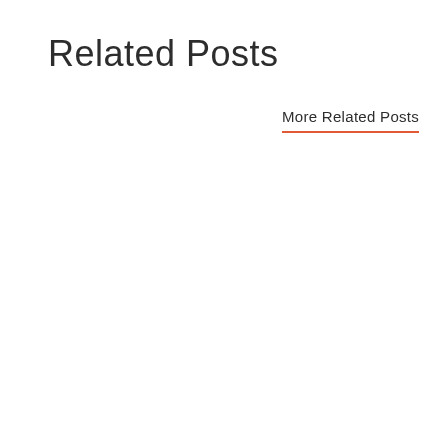Related Posts
More Related Posts